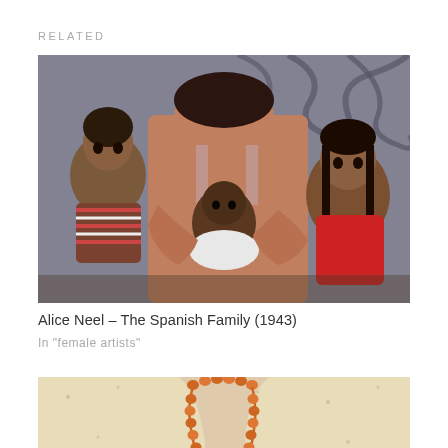RELATED
[Figure (photo): Painting by Alice Neel showing a family scene with a woman holding a baby, flanked by two children, against a decorative ironwork background. The Spanish Family (1943).]
Alice Neel – The Spanish Family (1943)
In "female artists"
[Figure (photo): Partial view of another painting showing a figure with an orange bead necklace against a pale, spotted background.]